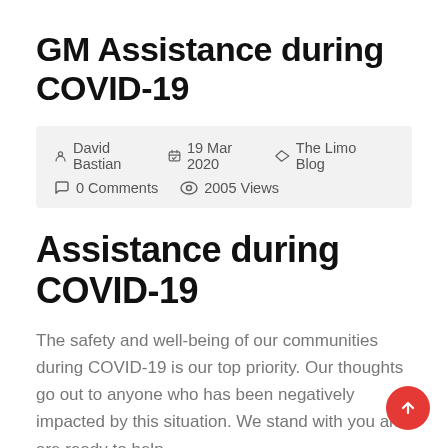GM Assistance during COVID-19
David Bastian   19 Mar 2020   The Limo Blog   0 Comments   2005 Views
Assistance during COVID-19
The safety and well-being of our communities during COVID-19 is our top priority. Our thoughts go out to anyone who has been negatively impacted by this situation. We stand with you and are ready to help.
Manage your account online